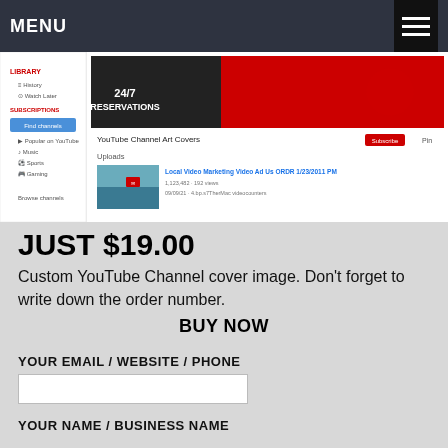MENU
[Figure (screenshot): Screenshot of a YouTube Channel Art Covers page showing a channel banner with '24/7 RESERVATIONS' text in red and black, sidebar with Library, History, Watch Later navigation, and an Uploads section with a Local Video Marketing video thumbnail.]
JUST $19.00
Custom YouTube Channel cover image. Don't forget to write down the order number.
BUY NOW
YOUR EMAIL / WEBSITE / PHONE
YOUR NAME / BUSINESS NAME